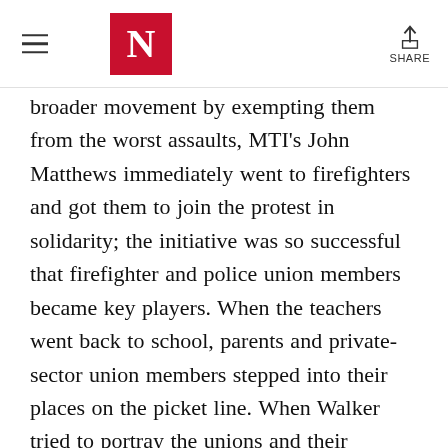The Nation — N logo, hamburger menu, share button
broader movement by exempting them from the worst assaults, MTI's John Matthews immediately went to firefighters and got them to join the protest in solidarity; the initiative was so successful that firefighter and police union members became key players. When the teachers went back to school, parents and private-sector union members stepped into their places on the picket line. When Walker tried to portray the unions and their members as greedy, union leaders made the not wholly popular choice to concede on a host of economic issues so the